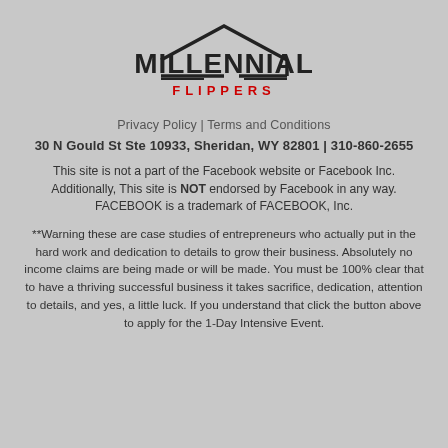[Figure (logo): Millennial Flippers logo with house roofline graphic above bold text MILLENNIAL and red spaced text FLIPPERS below]
Privacy Policy | Terms and Conditions
30 N Gould St Ste 10933, Sheridan, WY 82801 | 310-860-2655
This site is not a part of the Facebook website or Facebook Inc. Additionally, This site is NOT endorsed by Facebook in any way. FACEBOOK is a trademark of FACEBOOK, Inc.
**Warning these are case studies of entrepreneurs who actually put in the hard work and dedication to details to grow their business. Absolutely no income claims are being made or will be made. You must be 100% clear that to have a thriving successful business it takes sacrifice, dedication, attention to details, and yes, a little luck. If you understand that click the button above to apply for the 1-Day Intensive Event.